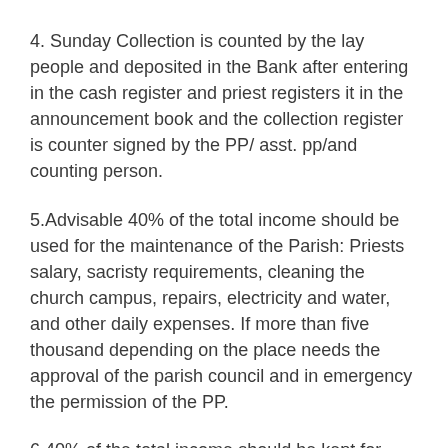4. Sunday Collection is counted by the lay people and deposited in the Bank after entering in the cash register and priest registers it in the announcement book and the collection register is counter signed by the PP/ asst. pp/and counting person.
5.Advisable 40% of the total income should be used for the maintenance of the Parish: Priests salary, sacristy requirements, cleaning the church campus, repairs, electricity and water, and other daily expenses. If more than five thousand depending on the place needs the approval of the parish council and in emergency the permission of the PP.
6.40% of the total income should be kept for future development of the parish: Painting, purchase of chairs, building repairs etc.
7. 20% of the income should be utilized for the social work.